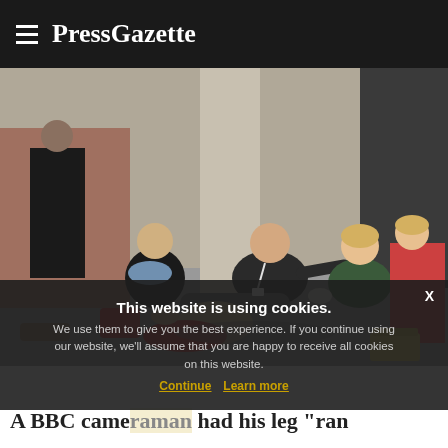PressGazette
[Figure (photo): A man sitting on the ground on a pavement being assisted by a female paramedic in green uniform. A blonde woman in a dark puffer jacket and blue scarf crouches nearby. Other bystanders are visible. Red items of clothing and bags are on the ground.]
This website is using cookies.
We use them to give you the best experience. If you continue using our website, we'll assume that you are happy to receive all cookies on this website.
Continue   Learn more
A BBC came... had his leg "ran